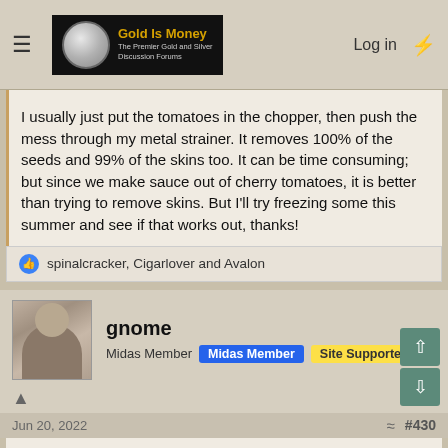Gold Is Money — The Premier Gold and Silver Discussion Forums | Log in
I usually just put the tomatoes in the chopper, then push the mess through my metal strainer. It removes 100% of the seeds and 99% of the skins too. It can be time consuming; but since we make sauce out of cherry tomatoes, it is better than trying to remove skins. But I'll try freezing some this summer and see if that works out, thanks!
spinalcracker, Cigarlover and Avalon
gnome
Midas Member   Midas Member   Site Supporter ++
Jun 20, 2022   #430
If any y'all want a good sauce tomato, try the San Marzano. Virtually seedless, low moisture content and rich tomato fla— the official tomato for Napolitan pizza.